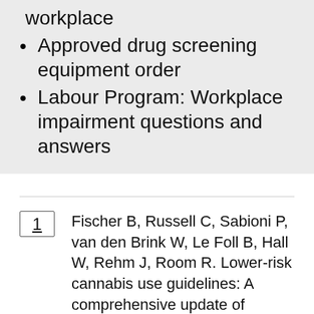workplace
Approved drug screening equipment order
Labour Program: Workplace impairment questions and answers
1  Fischer B, Russell C, Sabioni P, van den Brink W, Le Foll B, Hall W, Rehm J, Room R. Lower-risk cannabis use guidelines: A comprehensive update of evidence and recommendations. Am J Public Health 2017